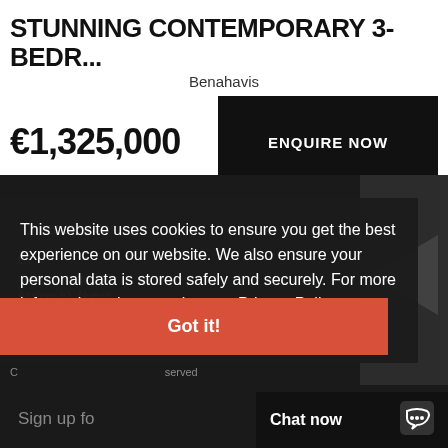STUNNING CONTEMPORARY 3-BEDR...
Benahavis
€1,325,000
ENQUIRE NOW
3 BED | 3 BATHS | 372 SQ M
📞  952 77 44 33
Lu...
Centro House, Calle Azaleas 51, Nueva An...
This website uses cookies to ensure you get the best experience on our website. We also ensure your personal data is stored safely and securely. For more information, please review our Privacy Policy  or
Terms & Conditions
Got it!
C                                                                 served
Sign up fo
Chat now